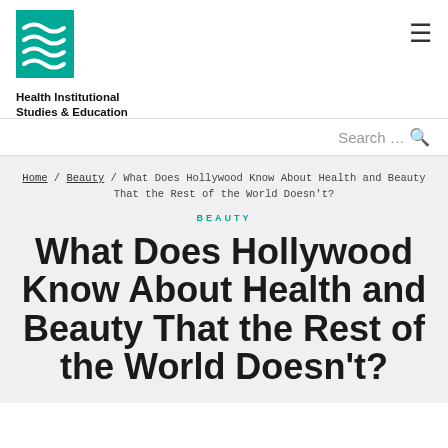[Figure (logo): Health Institutional Studies & Education logo with teal wave/stripe graphic]
Health Institutional Studies & Education
Search ...
Home / Beauty / What Does Hollywood Know About Health and Beauty That the Rest of the World Doesn't?
BEAUTY
What Does Hollywood Know About Health and Beauty That the Rest of the World Doesn't?